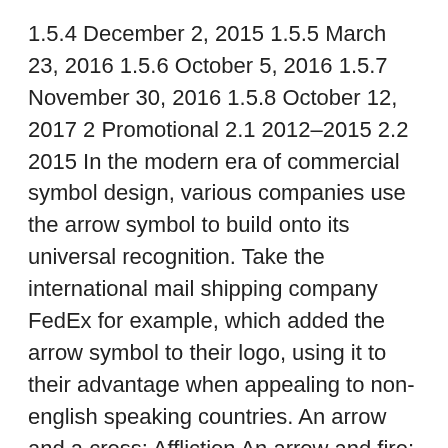1.5.4 December 2, 2015 1.5.5 March 23, 2016 1.5.6 October 5, 2016 1.5.7 November 30, 2016 1.5.8 October 12, 2017 2 Promotional 2.1 2012–2015 2.2 2015 In the modern era of commercial symbol design, various companies use the arrow symbol to build onto its universal recognition. Take the international mail shipping company FedEx for example, which added the arrow symbol to their logo, using it to their advantage when appealing to non-english speaking countries. An arrow and a cross: Affliction An arrow and fire: Christ In modern logos the arrow usually denotes positive, upward or outward movement, making it a great logo symbol in the investment, marketing, consulting and communications sectors.
These free images are pixel perfect to fit your